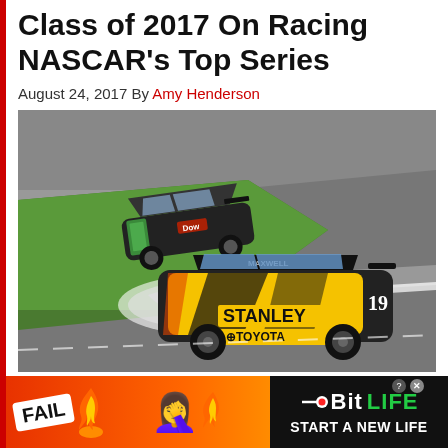Class of 2017 On Racing NASCAR's Top Series
August 24, 2017 By Amy Henderson
[Figure (photo): Two NASCAR stock cars racing on a banked oval track. The foreground car is yellow and black with STANLEY and TOYOTA branding (number 19). The background car is dark/black with Chevrolet branding. The track has green grass infield and grey asphalt banking.]
[Figure (infographic): BitLife advertisement banner with red/orange background. Left side shows a FAIL badge and a face-palm emoji. Center has flame emojis. Right side shows black background with BitLife logo (green LIFE text) and tagline START A NEW LIFE.]